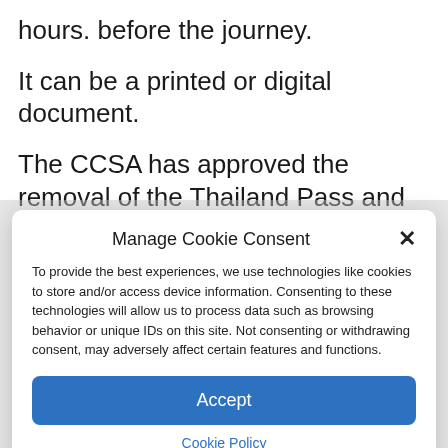hours. before the journey.
It can be a printed or digital document.
The CCSA has approved the removal of the Thailand Pass and the requirement for health insurance with US$10,000 coverage for
Manage Cookie Consent
To provide the best experiences, we use technologies like cookies to store and/or access device information. Consenting to these technologies will allow us to process data such as browsing behavior or unique IDs on this site. Not consenting or withdrawing consent, may adversely affect certain features and functions.
Accept
Cookie Policy